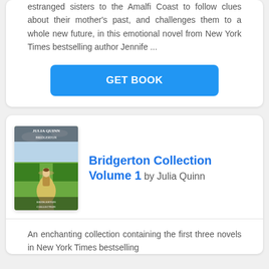estranged sisters to the Amalfi Coast to follow clues about their mother's past, and challenges them to a whole new future, in this emotional novel from New York Times bestselling author Jennife ...
GET BOOK
[Figure (illustration): Book cover of Bridgerton Collection Volume 1 by Julia Quinn, showing a woman in a period dress from behind, walking in a garden]
Bridgerton Collection Volume 1 by Julia Quinn
An enchanting collection containing the first three novels in New York Times bestselling